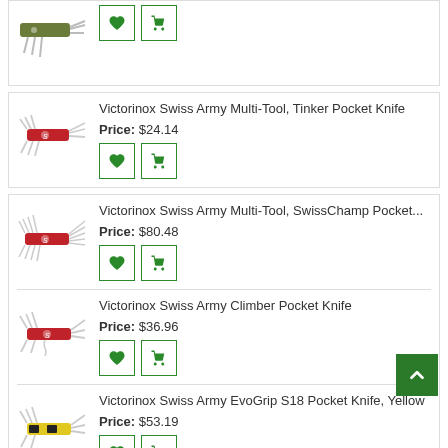[Figure (photo): Partial product card at top: Swiss Army knife (olive/green), with wishlist and cart buttons]
Victorinox Swiss Army Multi-Tool, Tinker Pocket Knife
Price: $24.14
[Figure (photo): Swiss Army Multi-Tool Tinker Pocket Knife, red handles, multiple blades open]
Victorinox Swiss Army Multi-Tool, SwissChamp Pocket...
Price: $80.48
[Figure (photo): Swiss Army Multi-Tool SwissChamp Pocket Knife, red handles, many blades open]
Victorinox Swiss Army Climber Pocket Knife
Price: $36.96
[Figure (photo): Swiss Army Climber Pocket Knife, red handles]
Victorinox Swiss Army EvoGrip S18 Pocket Knife, Yellow
Price: $53.19
[Figure (photo): Swiss Army EvoGrip S18 Pocket Knife, yellow handles]